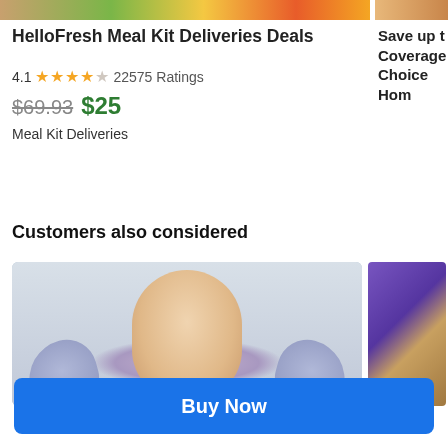[Figure (photo): Top banner image showing food items including fruits and colorful meals]
HelloFresh Meal Kit Deliveries Deals
4.1 ★★★★☆ 22575 Ratings
Save up t... Coverage... Choice Hom...
$69.93 $25
Meal Kit Deliveries
Customers also considered
[Figure (photo): Spa/facial treatment photo showing a woman with eyes closed being touched by gloved hands]
[Figure (photo): Partially visible thumbnail of a person working on crafts]
Buy Now